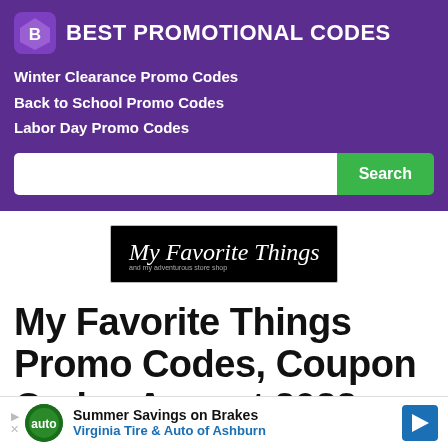[Figure (logo): Best Promotional Codes logo with purple diamond/gem icon and white bold text]
Winter Clearance Promo Codes
Back to School Promo Codes
Labor Day Promo Codes
[Figure (screenshot): Search bar with white input field and green Search button]
[Figure (logo): My Favorite Things logo - black background with cursive white text]
My Favorite Things Promo Codes, Coupon Codes August 2022
Latest My Favorite Things promotional codes and coupon
[Figure (infographic): Advertisement banner: Summer Savings on Brakes - Virginia Tire & Auto of Ashburn with auto service logo and blue directional arrow icon]